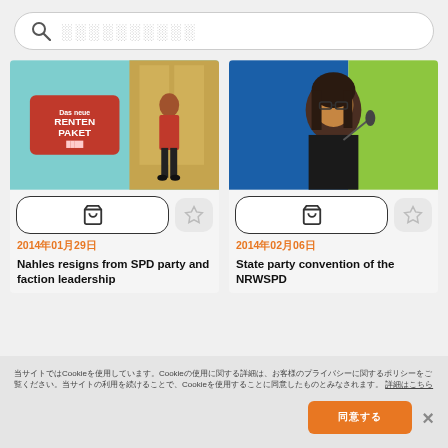🔍 ░░░░░░░░░ (search bar placeholder)
[Figure (photo): Woman walking past a large red RENTENPAKET sign in a teal-walled building lobby, wearing a red jacket and black pants]
[Figure (photo): Woman with dark hair and glasses speaking at a podium, with blue and green background panels]
2014年01月29日
Nahles resigns from SPD party and faction leadership
2014年02月06日
State party convention of the NRWSPD
当サイトではCookieを使用しています。Cookieの使用に関する詳細は、お客様のプライバシーに関するポリシーをご覧ください。当サイトの利用を続けることで、Cookieを使用することに同意したものとみなされます。 詳細はこちら
同意する
×